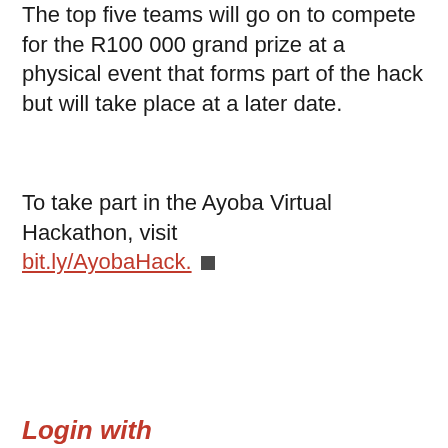The top five teams will go on to compete for the R100 000 grand prize at a physical event that forms part of the hack but will take place at a later date.
To take part in the Ayoba Virtual Hackathon, visit bit.ly/AyobaHack.
Login with